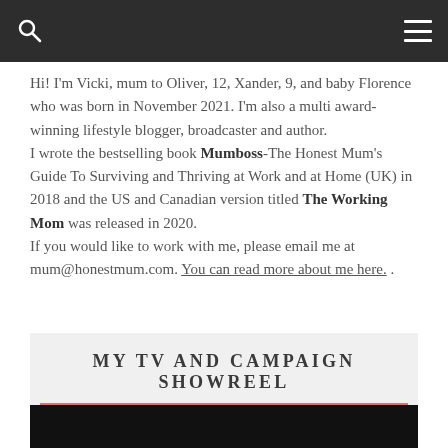navigation bar with search and menu icons
Hi! I'm Vicki, mum to Oliver, 12, Xander, 9, and baby Florence who was born in November 2021. I'm also a multi award-winning lifestyle blogger, broadcaster and author. I wrote the bestselling book Mumboss-The Honest Mum's Guide To Surviving and Thriving at Work and at Home (UK) in 2018 and the US and Canadian version titled The Working Mom was released in 2020. If you would like to work with me, please email me at mum@honestmum.com. You can read more about me here.
MY TV AND CAMPAIGN SHOWREEL
[Figure (screenshot): Dark video player block at the bottom of the page]